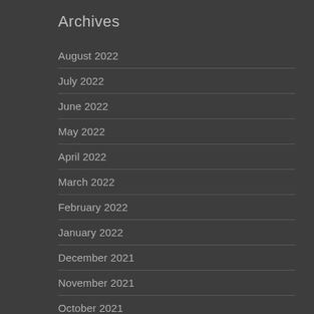Archives
August 2022
July 2022
June 2022
May 2022
April 2022
March 2022
February 2022
January 2022
December 2021
November 2021
October 2021
September 2021